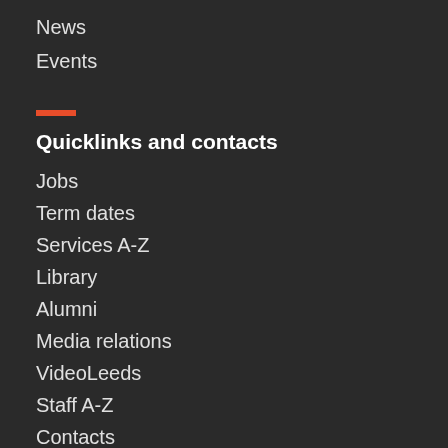News
Events
Quicklinks and contacts
Jobs
Term dates
Services A-Z
Library
Alumni
Media relations
VideoLeeds
Staff A-Z
Contacts